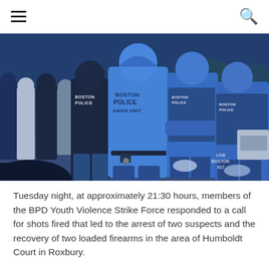≡  🔍
[Figure (photo): Boston Police officers wearing blue 'BOSTON POLICE GANG UNIT' hoodies and tactical vests standing on a street at night, with multiple officers visible and a watermark 'LIVE BOSTON 617' in the bottom right corner.]
Tuesday night, at approximately 21:30 hours, members of the BPD Youth Violence Strike Force responded to a call for shots fired that led to the arrest of two suspects and the recovery of two loaded firearms in the area of Humboldt Court in Roxbury.